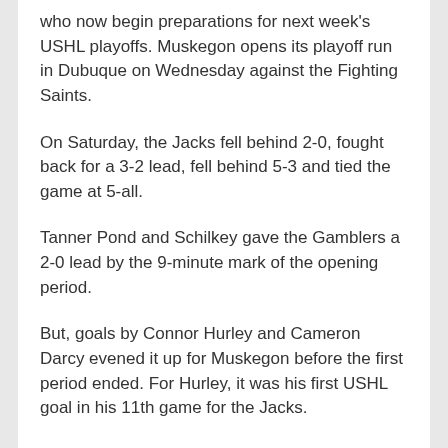who now begin preparations for next week's USHL playoffs. Muskegon opens its playoff run in Dubuque on Wednesday against the Fighting Saints.
On Saturday, the Jacks fell behind 2-0, fought back for a 3-2 lead, fell behind 5-3 and tied the game at 5-all.
Tanner Pond and Schilkey gave the Gamblers a 2-0 lead by the 9-minute mark of the opening period.
But, goals by Connor Hurley and Cameron Darcy evened it up for Muskegon before the first period ended. For Hurley, it was his first USHL goal in his 11th game for the Jacks.
Mike Brodzinski gave Muskegon a lead at 1:16 of the middle period on a goal that was assisted by Hurley.
Nick Schmaltz scored for Green Bay later in the